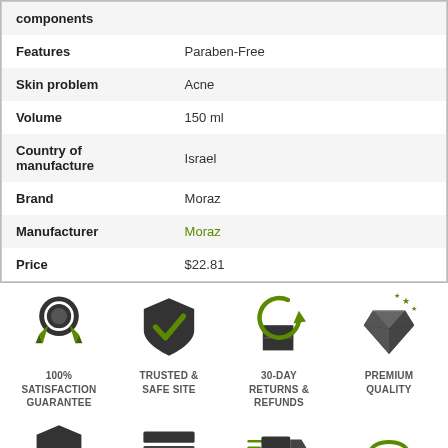| Property | Value |
| --- | --- |
| components |  |
| Features | Paraben-Free |
| Skin problem | Acne |
| Volume | 150 ml |
| Country of manufacture | Israel |
| Brand | Moraz |
| Manufacturer | Moraz |
| Price | $22.81 |
[Figure (infographic): Four trust badge icons: 100% Satisfaction Guarantee (medal/ribbon icon), Trusted & Safe Site (shield with checkmark), 30-Day Returns & Refunds (box with return arrow), Premium Quality (diamond with sparkles). Icons are dark gray with green accents.]
[Figure (infographic): Four more trust badge icons (partially visible at bottom): shield icon, credit card/payment icon, fast shipping truck icon, customer service headset icon.]